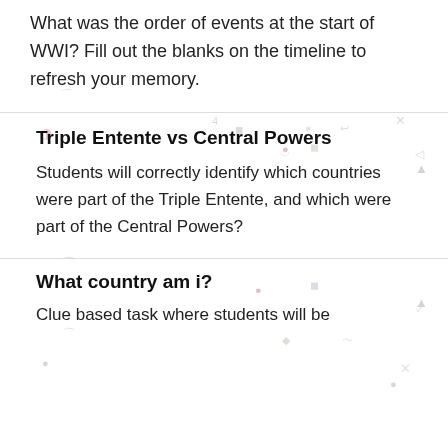What was the order of events at the start of WWI? Fill out the blanks on the timeline to refresh your memory.
Triple Entente vs Central Powers
Students will correctly identify which countries were part of the Triple Entente, and which were part of the Central Powers?
What country am i?
Clue based task where students will be